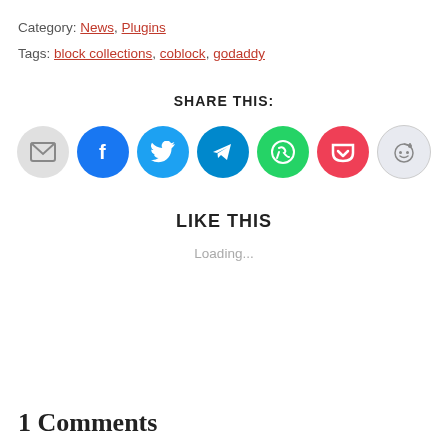Category: News, Plugins
Tags: block collections, coblock, godaddy
SHARE THIS:
[Figure (infographic): Row of circular social sharing buttons: email (gray), Facebook (blue), Twitter (light blue), Telegram (blue), WhatsApp (green), Pocket (red), Reddit (light gray)]
LIKE THIS
Loading...
1 Comments